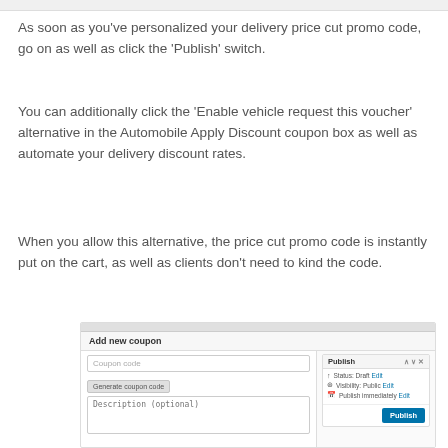As soon as you've personalized your delivery price cut promo code, go on as well as click the 'Publish' switch.
You can additionally click the 'Enable vehicle request this voucher' alternative in the Automobile Apply Discount coupon box as well as automate your delivery discount rates.
When you allow this alternative, the price cut promo code is instantly put on the cart, as well as clients don't need to kind the code.
[Figure (screenshot): Screenshot of WordPress WooCommerce 'Add new coupon' admin panel showing Coupon code input, Generate coupon code button, Description (optional) textarea on the left, and a Publish panel on the right with Status: Draft Edit, Visibility: Public Edit, Publish immediately Edit options, and a blue Publish button at the bottom.]